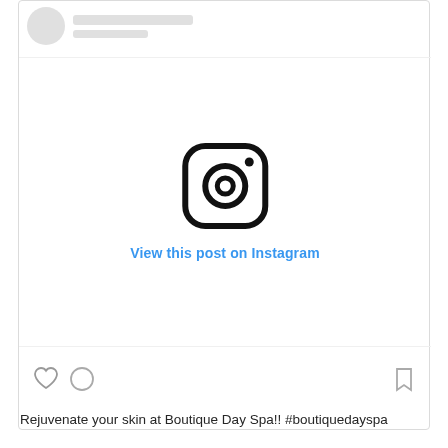[Figure (screenshot): Instagram post embed showing profile row at top with avatar placeholder and two gray text bars, large white content area with Instagram camera logo icon in the center, 'View this post on Instagram' link in blue, bottom action icons row (heart, circle, speech bubble), and caption text at bottom.]
View this post on Instagram
Rejuvenate your skin at Boutique Day Spa!! #boutiquedayspa